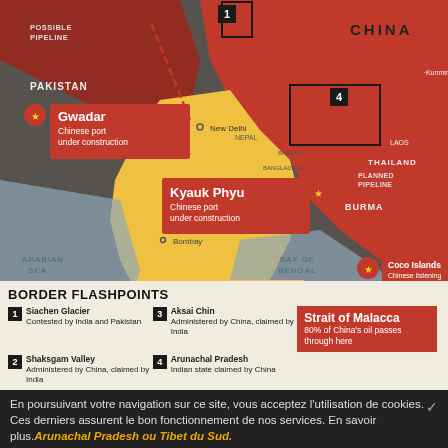[Figure (map): Map of South Asia showing China-India border flashpoints, Chinese ports under construction (Gwadar, Kyauk Phyu), Chinese listening post (Coco Islands), Indian naval base (Port Blair), planned pipeline routes, and the Strait of Malacca trade route. Countries labeled: China, India, Pakistan, Nepal, Bangladesh, Burma, Thailand, Laos, Sri Lanka. Cities: New Delhi, Calcutta, Bombay, Kunming. Seas: Arabian Sea, Bay of Bengal, Indian Ocean.]
BORDER FLASHPOINTS
1 Siachen Glacier - Contested by India and Pakistan
2 Shaksgam Valley - Administered by China, claimed by India
3 Aksai Chin - Administered by China, claimed by India
4 Arunachal Pradesh - Indian state claimed by China
Strait of Malacca - 80% of China's oil passes through here
En poursuivant votre navigation sur ce site, vous acceptez l'utilisation de cookies. Ces derniers assurent le bon fonctionnement de nos services. En savoir plus. Arunachal Pradesh ou Tibet du Sud.